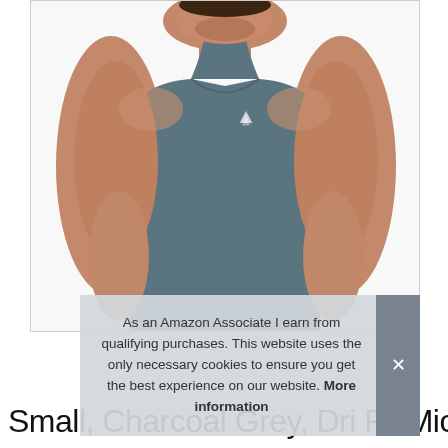[Figure (photo): A muscular man wearing a charcoal grey tank top (sleeveless workout shirt) with a small logo on the chest, posed against a white background. The man has short dark hair and a beard. Arms are extended at sides showing muscular physique.]
As an Amazon Associate I earn from qualifying purchases. This website uses the only necessary cookies to ensure you get the best experience on our website. More information
Small, Charcoal Grey, Dri Fit Microfiber